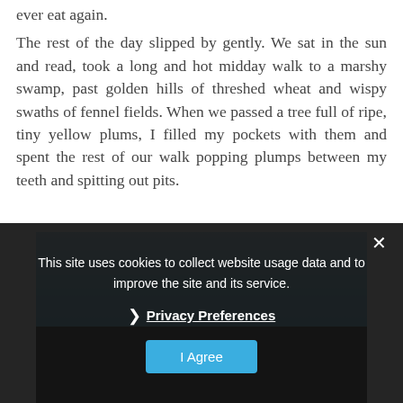ever eat again.
The rest of the day slipped by gently. We sat in the sun and read, took a long and hot midday walk to a marshy swamp, past golden hills of threshed wheat and wispy swaths of fennel fields. When we passed a tree full of ripe, tiny yellow plums, I filled my pockets with them and spent the rest of our walk popping plumps between my teeth and spitting out pits.
[Figure (photo): Outdoor photograph showing a blue sky gradient at the top and a dark landscape scene at the bottom, partially obscured by a cookie consent overlay.]
This site uses cookies to collect website usage data and to improve the site and its service.

› Privacy Preferences

I Agree